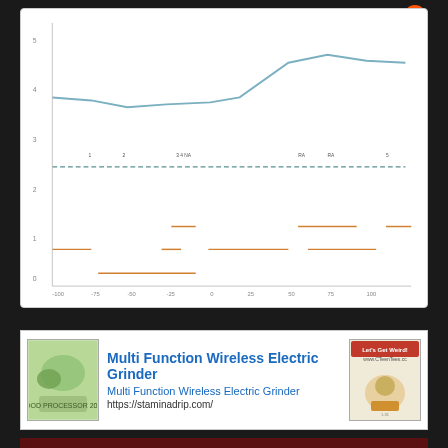[Figure (line-chart): A line chart showing multiple data series including a rising blue line and several dashed/flat lines in teal and orange at various y-levels, with x-axis ranging from approximately -100 to 100.]
[Figure (infographic): Advertisement banner for Multi Function Wireless Electric Grinder from staminadrip.com, with product images on left and right sides.]
Multi Function Wireless Electric Grinder
Multi Function Wireless Electric Grinder
https://staminadrip.com/